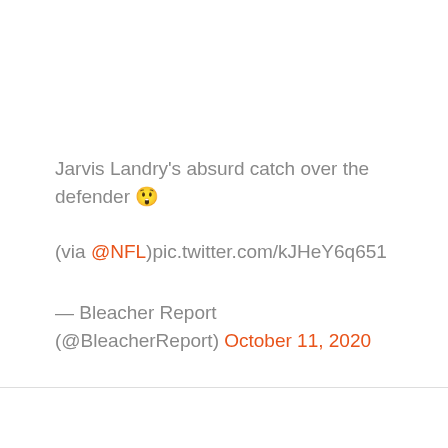Jarvis Landry's absurd catch over the defender 😲
(via @NFL)pic.twitter.com/kJHeY6q651
— Bleacher Report (@BleacherReport) October 11, 2020